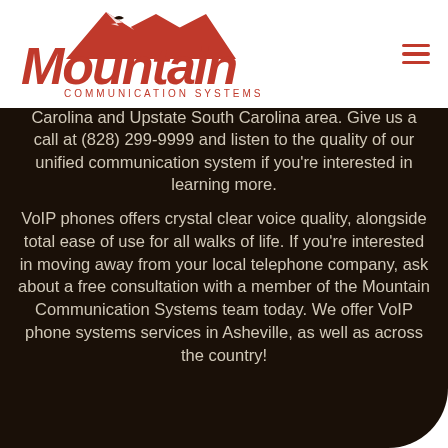[Figure (logo): Mountain Communication Systems red logo with mountain graphic and stylized text]
Carolina and Upstate South Carolina area. Give us a call at (828) 299-9999 and listen to the quality of our unified communication system if you're interested in learning more.
VoIP phones offers crystal clear voice quality, alongside total ease of use for all walks of life. If you're interested in moving away from your local telephone company, ask about a free consultation with a member of the Mountain Communication Systems team today. We offer VoIP phone systems services in Asheville, as well as across the country!